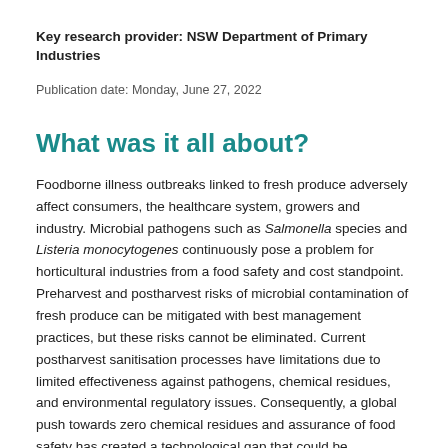Key research provider: NSW Department of Primary Industries
Publication date: Monday, June 27, 2022
What was it all about?
Foodborne illness outbreaks linked to fresh produce adversely affect consumers, the healthcare system, growers and industry. Microbial pathogens such as Salmonella species and Listeria monocytogenes continuously pose a problem for horticultural industries from a food safety and cost standpoint. Preharvest and postharvest risks of microbial contamination of fresh produce can be mitigated with best management practices, but these risks cannot be eliminated. Current postharvest sanitisation processes have limitations due to limited effectiveness against pathogens, chemical residues, and environmental regulatory issues. Consequently, a global push towards zero chemical residues and assurance of food safety has created a technological gap that could be